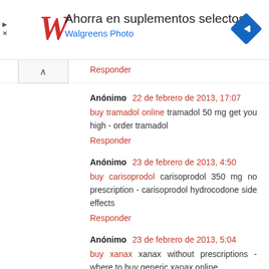[Figure (advertisement): Walgreens Photo advertisement banner: red Walgreens W logo on left, text 'Ahorra en suplementos selectos' and 'Walgreens Photo' in blue, blue diamond navigation icon on right, with play and close icons on far left]
Responder (partially visible, clipped at top)
Anónimo 22 de febrero de 2013, 17:07
buy tramadol online tramadol 50 mg get you high - order tramadol
Responder
Anónimo 23 de febrero de 2013, 4:50
buy carisoprodol carisoprodol 350 mg no prescription - carisoprodol hydrocodone side effects
Responder
Anónimo 23 de febrero de 2013, 5:04
buy xanax xanax without prescriptions - where to buy generic xanax online